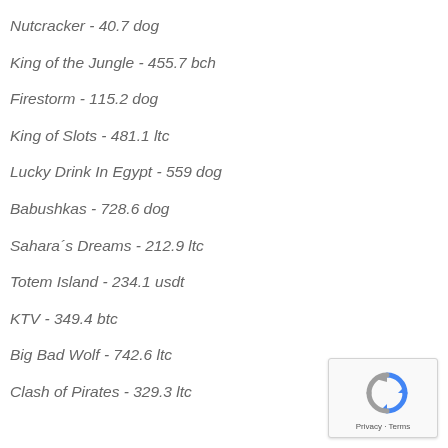Nutcracker - 40.7 dog
King of the Jungle - 455.7 bch
Firestorm - 115.2 dog
King of Slots - 481.1 ltc
Lucky Drink In Egypt - 559 dog
Babushkas - 728.6 dog
Sahara´s Dreams - 212.9 ltc
Totem Island - 234.1 usdt
KTV - 349.4 btc
Big Bad Wolf - 742.6 ltc
Clash of Pirates - 329.3 ltc